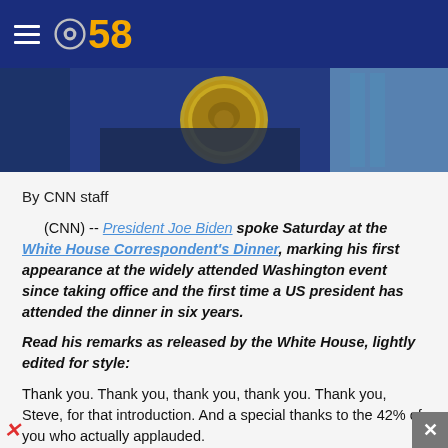CBS 58
[Figure (photo): Photo showing the Presidential seal on a dark background, partial view of a person and a light-colored curtain in the background.]
By CNN staff
(CNN) -- President Joe Biden spoke Saturday at the White House Correspondent's Dinner, marking his first appearance at the widely attended Washington event since taking office and the first time a US president has attended the dinner in six years.
Read his remarks as released by the White House, lightly edited for style:
Thank you. Thank you, thank you, thank you. Thank you, Steve, for that introduction. And a special thanks to the 42% of you who actually applauded.